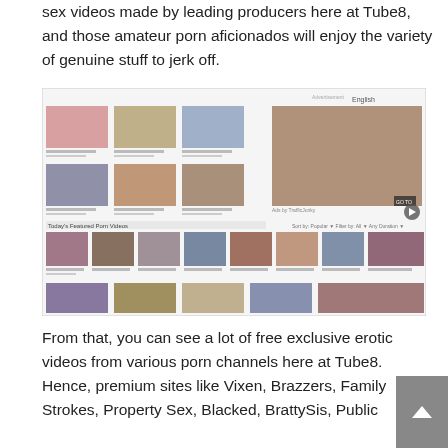sex videos made by leading producers here at Tube8, and those amateur porn aficionados will enjoy the variety of genuine stuff to jerk off.
[Figure (screenshot): Screenshot of Tube8 website showing a grid of video thumbnails and an advertisement banner on the right side. The page shows 'Today's Featured Porn Videos' section with multiple rows of video thumbnails.]
From that, you can see a lot of free exclusive erotic videos from various porn channels here at Tube8. Hence, premium sites like Vixen, Brazzers, Family Strokes, Property Sex, Blacked, BrattySis, Public